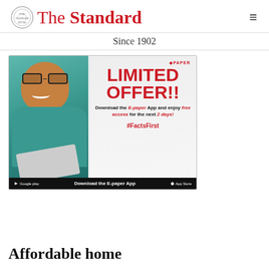The Standard — Since 1902
[Figure (illustration): Advertisement banner for The Standard E-paper App. Shows a man in a teal shirt holding a laptop, with promotional text: 'LIMITED OFFER!! Download the E-paper App and enjoy free access for the next 2 days! #FactsFirst'. Download buttons for Google Play and App Store at bottom.]
Affordable home